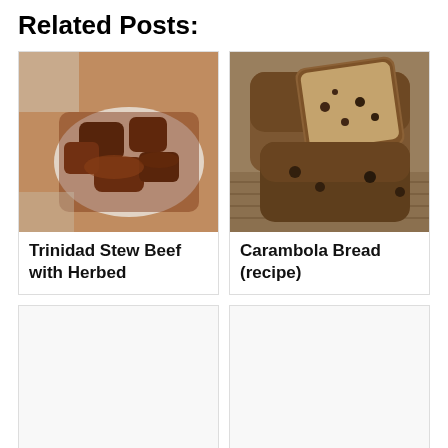Related Posts:
[Figure (photo): Trinidad Stew Beef with Herbed - food photo showing braised meat in sauce]
Trinidad Stew Beef with Herbed
[Figure (photo): Carambola Bread (recipe) - food photo showing sliced loaf of brown bread]
Carambola Bread (recipe)
[Figure (photo): Banana Bread (recipe) - placeholder image]
Banana Bread (recipe)
[Figure (photo): Double Corn Spoon Bread with Green - placeholder image]
Double Corn Spoon Bread with Green